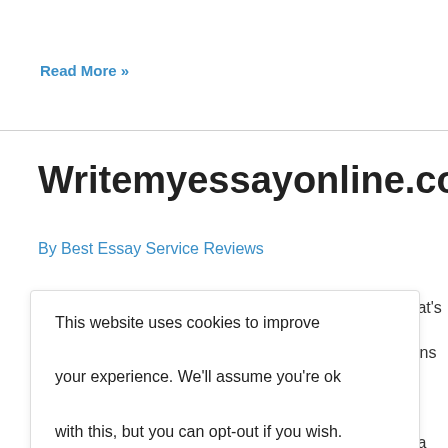Read More »
Writemyessayonline.com
By Best Essay Service Reviews
This website uses cookies to improve your experience. We'll assume you're ok with this, but you can opt-out if you wish.
n website that's
ent, which means
essayonline
n. In fact, this is a
eave
writemyessaonline.com reviews on the website, why isn't there